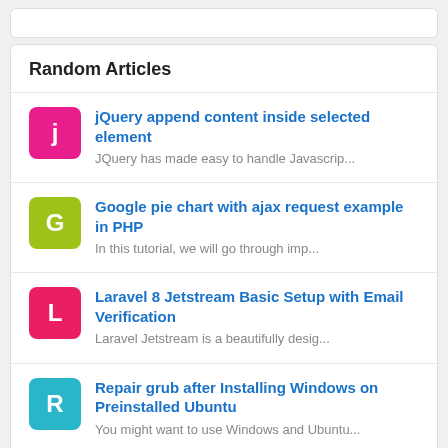Random Articles
jQuery append content inside selected element
JQuery has made easy to handle Javascrip...
Google pie chart with ajax request example in PHP
In this tutorial, we will go through imp...
Laravel 8 Jetstream Basic Setup with Email Verification
Laravel Jetstream is a beautifully desig...
Repair grub after Installing Windows on Preinstalled Ubuntu
You might want to use Windows and Ubuntu...
How to convert php array to simple xml